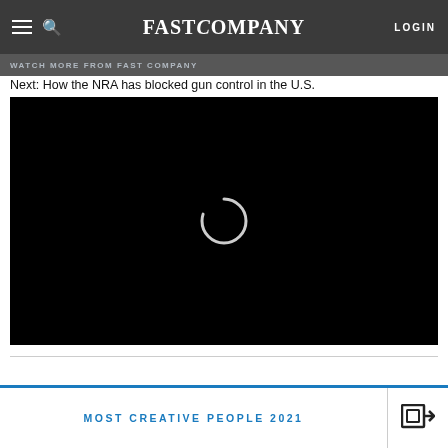FAST COMPANY   LOGIN
WATCH MORE FROM FAST COMPANY
Next: How the NRA has blocked gun control in the U.S.
[Figure (screenshot): Black video player with a circular loading spinner in the center]
MOST CREATIVE PEOPLE 2021